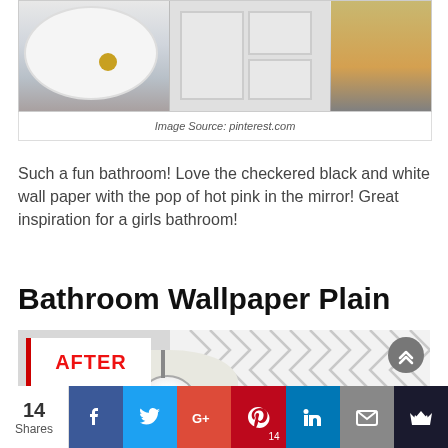[Figure (photo): Top portion of a bathroom showing a white vessel sink with gold drain, white painted cabinets, and a gold/bronze shelving unit to the right]
Image Source: pinterest.com
Such a fun bathroom! Love the checkered black and white wall paper with the pop of hot pink in the mirror! Great inspiration for a girls bathroom!
Bathroom Wallpaper Plain
[Figure (photo): After photo of a bathroom renovation showing a light fixture/pendant lights against herringbone patterned grey and white wallpaper, with an AFTER badge overlay]
14 Shares | Facebook | Twitter | Google+ | Pinterest 14 | LinkedIn | Email | Crown